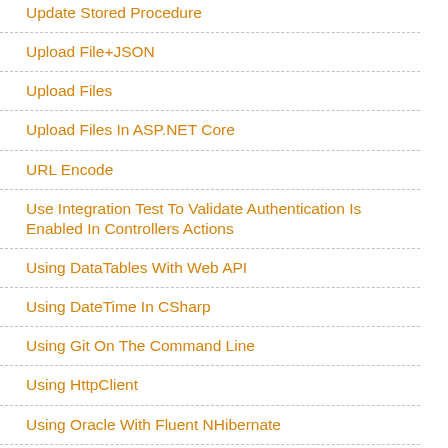Update Stored Procedure
Upload File+JSON
Upload Files
Upload Files In ASP.NET Core
URL Encode
Use Integration Test To Validate Authentication Is Enabled In Controllers Actions
Using DataTables With Web API
Using DateTime In CSharp
Using Git On The Command Line
Using HttpClient
Using Oracle With Fluent NHibernate
Using Parameters
Using Stored Procedures And Parameters
Utilities
Utils